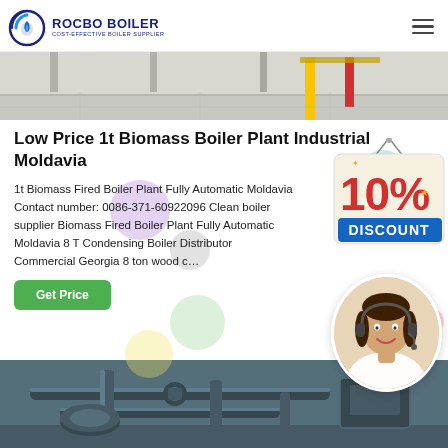ROCBO BOILER - COST-EFFECTIVE BOILER SUPPLIER
[Figure (photo): Industrial facility interior with structural supports and equipment, partial view at top of page]
Low Price 1t Biomass Boiler Plant Industrial Moldavia
1t Biomass Fired Boiler Plant Fully Automatic Moldavia Contact number: 0086-371-60922096 Clean boiler supplier Biomass Fired Boiler Plant Fully Automatic Moldavia 8 T Condensing Boiler Distributor Commercial Georgia 8 ton wood c…
[Figure (infographic): 10% DISCOUNT promotional badge overlay]
[Figure (photo): Customer service representative with headset, smiling]
[Figure (photo): Industrial boiler/piping equipment photo at bottom of page]